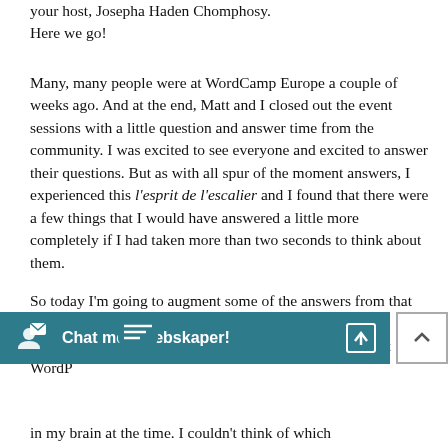your host, Josepha Haden Chomphosy. Here we go!
Many, many people were at WordCamp Europe a couple of weeks ago. And at the end, Matt and I closed out the event sessions with a little question and answer time from the community. I was excited to see everyone and excited to answer their questions. But as with all spur of the moment answers, I experienced this l'esprit de l'escalier and I found that there were a few things that I would have answered a little more completely if I had taken more than two seconds to think about them.
So today I'm going to augment some of the answers from that session with a little more context and clarity. There was a question from Laura Byrne about favorite blocks in recent WordP... forma...
in my brain at the time. I couldn't think of which